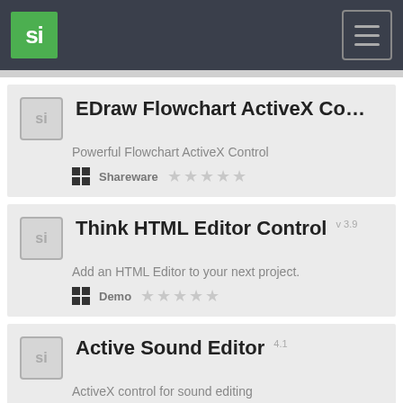si (logo) — hamburger menu
EDraw Flowchart ActiveX Co... — Powerful Flowchart ActiveX Control — Shareware — 0 stars
Think HTML Editor Control v3.9 — Add an HTML Editor to your next project. — Demo — 0 stars
Active Sound Editor 4.1 — ActiveX control for sound editing — Shareware — 0 stars
Sonic Click Super Button Acti...